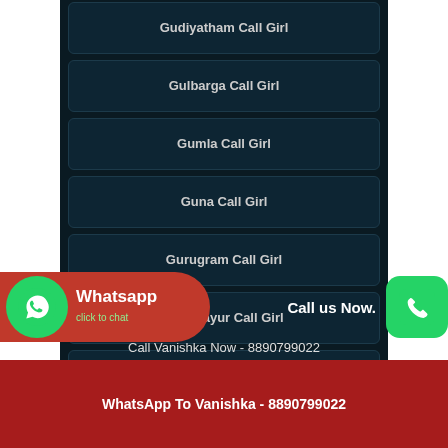Gudiyatham Call Girl
Gulbarga Call Girl
Gumla Call Girl
Guna Call Girl
Gurugram Call Girl
Guruvayur Call Girl
Gyalshing Call Girl
Gyalshing-nagar Call Girl
Whatsapp click to chat
Call us Now.
Call Vanishka Now - 8890799022
WhatsApp To Vanishka - 8890799022